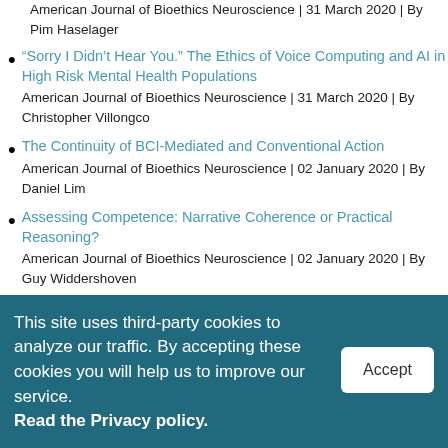American Journal of Bioethics Neuroscience | 31 March 2020 | By Pim Haselager
“Sorry I Didn’t Hear You.” The Ethics of Voice Computing and AI in High Risk Mental Health Populations
American Journal of Bioethics Neuroscience | 31 March 2020 | By Christopher Villongco
The Continuity of BCI-Mediated and Conventional Action
American Journal of Bioethics Neuroscience | 02 January 2020 | By Daniel Lim
Assessing Competence: Narrative Coherence or Practical Reasoning?
American Journal of Bioethics Neuroscience | 02 January 2020 | By Guy Widdershoven
This site uses third-party cookies to analyze our traffic. By accepting these cookies you will help us to improve our service. Read the Privacy policy.